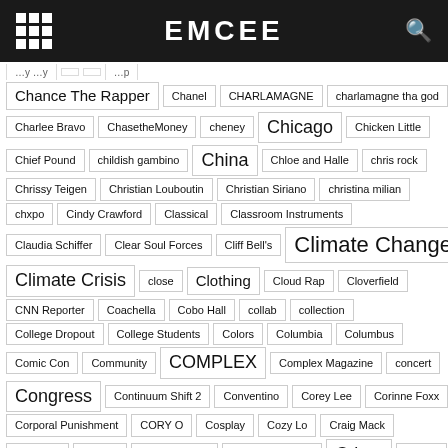EMCEE
Chance The Rapper
Chanel
CHARLAMAGNE
charlamagne tha god
Charlee Bravo
ChasetheMoney
cheney
Chicago
Chicken Little
Chief Pound
childish gambino
China
Chloe and Halle
chris rock
Chrissy Teigen
Christian Louboutin
Christian Siriano
christina milian
chxpo
Cindy Crawford
Classical
Classroom Instruments
Claudia Schiffer
Clear Soul Forces
Cliff Bell's
Climate Change
Climate Crisis
close
Clothing
Cloud Rap
Cloverfield
CNN Reporter
Coachella
Cobo Hall
collab
collection
College Dropout
College Students
Colors
Columbia
Columbus
Comic Con
Community
COMPLEX
Complex Magazine
concert
Congress
Continuum Shift 2
Conventino
Corey Lee
Corinne Foxx
Corporal Punishment
CORY O
Cosplay
Cozy Lo
Craig Mack
Craigslist
crayola
Creative Base
Creative Director
Crime
culture
Culture 2
Curated by Cardi
curren$y
Current News
curtis harding